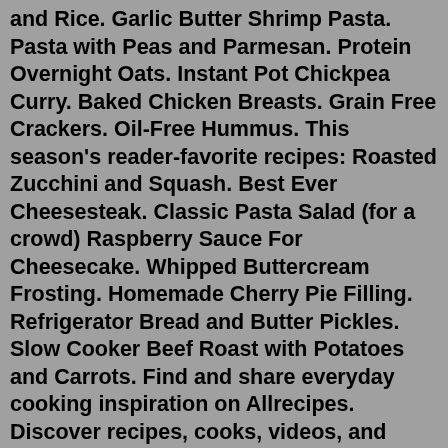and Rice. Garlic Butter Shrimp Pasta. Pasta with Peas and Parmesan. Protein Overnight Oats. Instant Pot Chickpea Curry. Baked Chicken Breasts. Grain Free Crackers. Oil-Free Hummus. This season's reader-favorite recipes: Roasted Zucchini and Squash. Best Ever Cheesesteak. Classic Pasta Salad (for a crowd) Raspberry Sauce For Cheesecake. Whipped Buttercream Frosting. Homemade Cherry Pie Filling. Refrigerator Bread and Butter Pickles. Slow Cooker Beef Roast with Potatoes and Carrots. Find and share everyday cooking inspiration on Allrecipes. Discover recipes, cooks, videos, and how-tos based on the food you love and the friends you follow.This is one of the most traditional soul food recipes and it’s rich, creamy, and absolutely perfect. Source: Simplyrecipes.com. 2. Cornbread. Surely cornbread was invented in heaven because it’s just that delicious. Southern cornbread usually doesn’t have a sweet taste to it, while cornbread made in the North does. BEHOLD: The Top 10 recipes ever